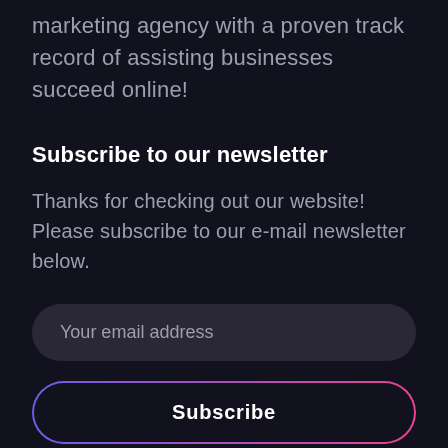marketing agency with a proven track record of assisting businesses succeed online!
Subscribe to our newsletter
Thanks for checking out our website! Please subscribe to our e-mail newsletter below.
[Figure (other): Email input field with placeholder text 'Your email address' on dark rounded background]
[Figure (other): Subscribe button with gradient border (purple to pink) and dark background]